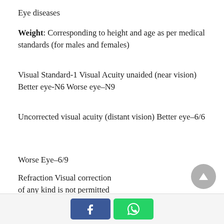Eye diseases
Weight: Corresponding to height and age as per medical standards (for males and females)
Visual Standard-1 Visual Acuity unaided (near vision) Better eye-N6 Worse eye–N9
Uncorrected visual acuity (distant vision) Better eye–6/6
Worse Eye–6/9
Refraction Visual correction of any kind is not permitted even by glasses
Colour vision
Facebook and WhatsApp share buttons